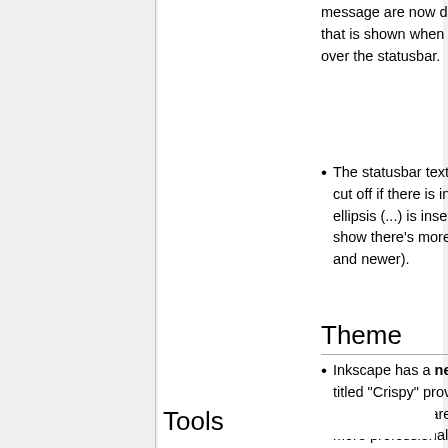message are now duplicated as a tooltip that is shown when you hover the mouse over the statusbar.
The statusbar text is now no longer just cut off if there is insufficient room, but an ellipsis (...) is inserted at the end to show there's more (only with Gtk 2.6 and newer).
Theme
Inkscape has a new default icon set titled "Crispy" provided by Andre Sousa. The new icons are intended to add a more professional and cohesive look to our application, as well as to make the functions the icons represent more self-evident.
Tools